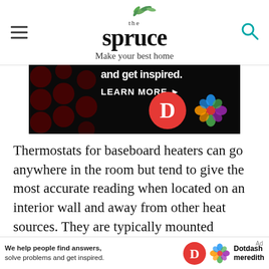the spruce — Make your best home
[Figure (screenshot): Dark advertisement banner with text 'and get inspired.' and 'LEARN MORE >' button, with Dotdash and Meredith logos on black background with dark red polka dots]
Thermostats for baseboard heaters can go anywhere in the room but tend to give the most accurate reading when located on an interior wall and away from other heat sources. They are typically mounted slightly higher than the typical wall switch. Some baseboard heaters have thermostat units built into the h...
[Figure (screenshot): Bottom advertisement bar: 'We help people find answers, solve problems and get inspired.' with Dotdash Meredith logo]